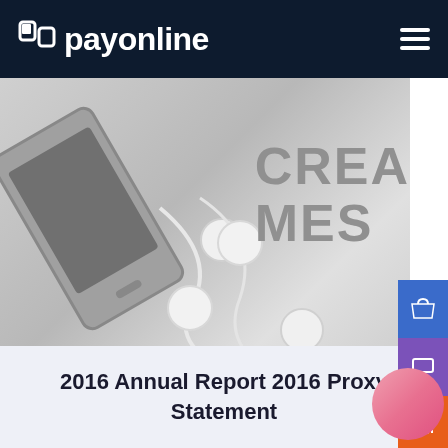payonline
[Figure (photo): Grayscale photo showing a smartphone, earbuds/earphones with white cable, and partial text reading 'CREA MES' on the right side, laid out on a flat surface.]
2016 Annual Report 2016 Proxy Statement